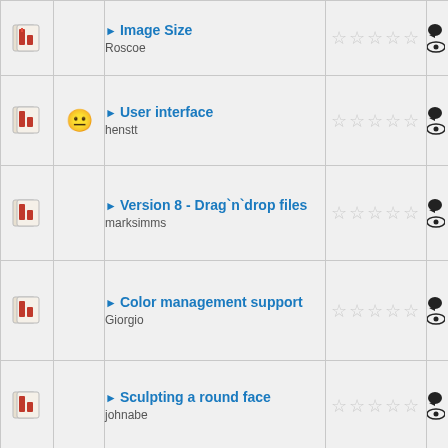| Icon | Icon2 | Title/Author | Stars | Stats |
| --- | --- | --- | --- | --- |
| [icon] |  | Image Size
Roscoe | ☆☆☆☆☆ | 13,178 |
| [icon] | [emoji] | User interface
henstt | ☆☆☆☆☆ | 2 comments
10,193 |
| [icon] |  | Version 8 - Drag`n`drop files
marksimms | ☆☆☆☆☆ | 2 comments
9,704 |
| [icon] |  | Color management support
Giorgio | ☆☆☆☆☆ | 7 comments
19,968 |
| [icon] |  | Sculpting a round face
johnabe | ☆☆☆☆☆ | 1 comment
8,115 |
| [icon] |  | Undue Button
JVC | ☆☆☆☆☆ | 5 comments
17,782 |